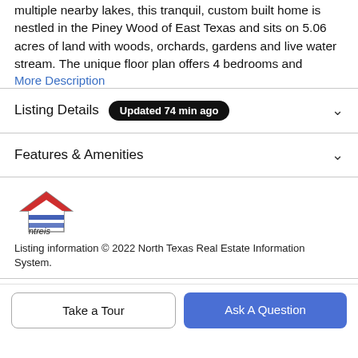multiple nearby lakes, this tranquil, custom built home is nestled in the Piney Wood of East Texas and sits on 5.06 acres of land with woods, orchards, gardens and live water stream. The unique floor plan offers 4 bedrooms and
More Description
Listing Details  Updated 74 min ago
Features & Amenities
[Figure (logo): NTREIS logo - house icon with blue and red stripes, text 'ntreis' below]
Listing information © 2022 North Texas Real Estate Information System.
Take a Tour
Ask A Question